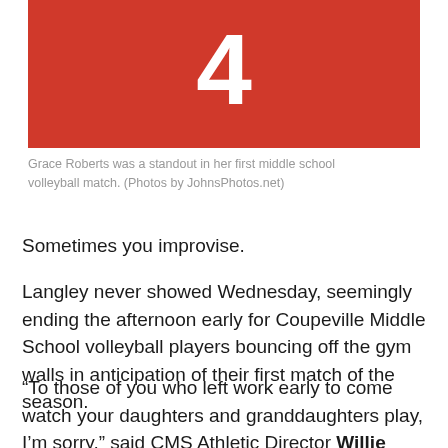[Figure (photo): Red jersey with white number 4 on it, close-up of the front of a volleyball uniform]
Grace Roberts was a standout in her first middle school volleyball match. (Photos by JohnsPhotos.net)
Sometimes you improvise.
Langley never showed Wednesday, seemingly ending the afternoon early for Coupeville Middle School volleyball players bouncing off the gym walls in anticipation of their first match of the season.
“To those of you who left work early to come watch your daughters and granddaughters play, I’m sorry,” said CMS Athletic Director Willie Smith.